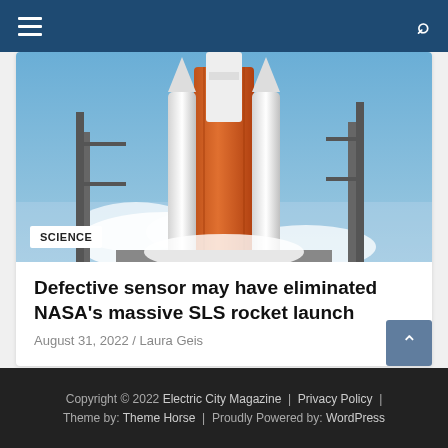Navigation bar with hamburger menu and search icon
[Figure (photo): NASA SLS rocket on launch pad, orange external tank visible, white rocket body, light blue sky background, steam/smoke visible at base]
SCIENCE
Defective sensor may have eliminated NASA's massive SLS rocket launch
August 31, 2022 / Laura Geis
Copyright © 2022 Electric City Magazine | Privacy Policy | Theme by: Theme Horse | Proudly Powered by: WordPress